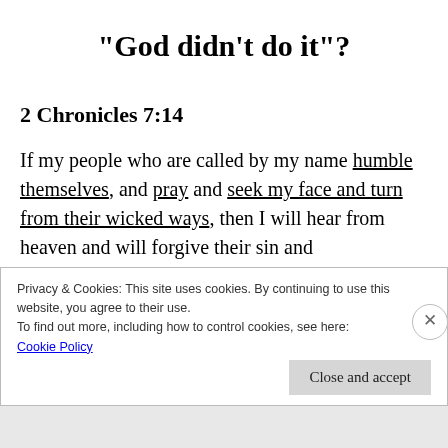“God didn’t do it”?
2 Chronicles 7:14
If my people who are called by my name humble themselves, and pray and seek my face and turn from their wicked ways, then I will hear from heaven and will forgive their sin and
Privacy & Cookies: This site uses cookies. By continuing to use this website, you agree to their use.
To find out more, including how to control cookies, see here:
Cookie Policy
Close and accept